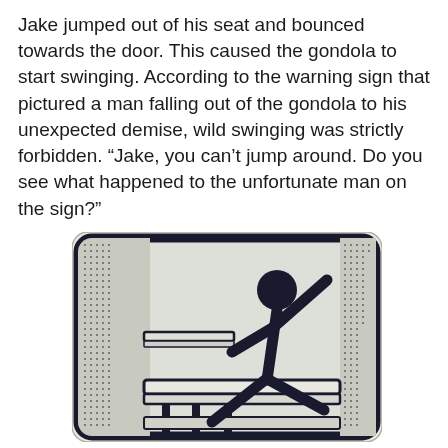Jake jumped out of his seat and bounced towards the door. This caused the gondola to start swinging. According to the warning sign that pictured a man falling out of the gondola to his unexpected demise, wild swinging was strictly forbidden. “Jake, you can’t jump around. Do you see what happened to the unfortunate man on the sign?”
[Figure (illustration): A warning sign showing a stick figure person falling or stumbling inside a gondola cabin, with one arm raised, depicted in black on a light background with a rounded rectangle border and textured side panels.]